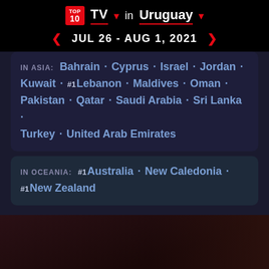TOP 10 TV ▾ in Uruguay ▾
◀ JUL 26 - AUG 1, 2021 ▶
IN ASIA: Bahrain · Cyprus · Israel · Jordan · Kuwait · #1 Lebanon · Maldives · Oman · Pakistan · Qatar · Saudi Arabia · Sri Lanka · Turkey · United Arab Emirates
IN OCEANIA: #1 Australia · New Caledonia · #1 New Zealand
[Figure (photo): Dark cinematic still image with a person partially visible, showing the TV show Virgin River Season 3]
VIRGIN RIVER: SEASON 3